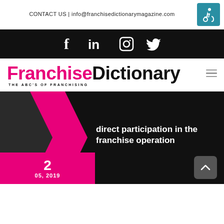CONTACT US | info@franchisedictionarymagazine.com
[Figure (logo): Accessibility icon - wheelchair symbol on teal/blue background]
[Figure (infographic): Social media icons: Facebook (f), LinkedIn (in), Instagram (camera), Twitter (bird) on black background]
[Figure (logo): FranchiseDictionary logo - 'Franchise' in pink bold, 'Dictionary' in black bold, tagline 'THE ABC'S OF FRANCHISING' below]
direct participation in the franchise operation
2
05, 2019